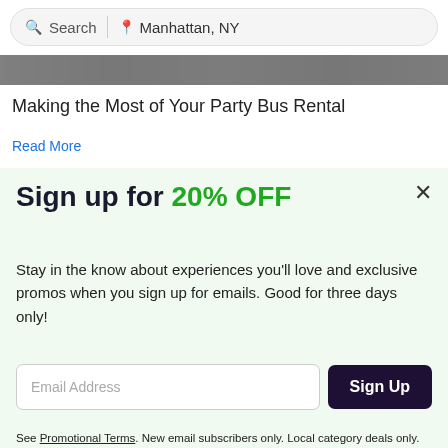Search | Manhattan, NY
[Figure (photo): Partial view of people at a party bus event, cropped photo strip]
Making the Most of Your Party Bus Rental
Read More
Sign up for 20% OFF
Stay in the know about experiences you'll love and exclusive promos when you sign up for emails. Good for three days only!
Email Address
Sign Up
See Promotional Terms. New email subscribers only. Local category deals only. By subscribing, I agree to the Terms of Use and have read the Privacy Statement